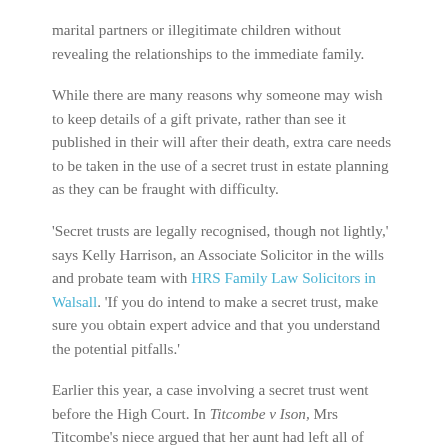marital partners or illegitimate children without revealing the relationships to the immediate family.
While there are many reasons why someone may wish to keep details of a gift private, rather than see it published in their will after their death, extra care needs to be taken in the use of a secret trust in estate planning as they can be fraught with difficulty.
'Secret trusts are legally recognised, though not lightly,' says Kelly Harrison, an Associate Solicitor in the wills and probate team with HRS Family Law Solicitors in Walsall. 'If you do intend to make a secret trust, make sure you obtain expert advice and that you understand the potential pitfalls.'
Earlier this year, a case involving a secret trust went before the High Court. In Titcombe v Ison, Mrs Titcombe's niece argued that her aunt had left all of